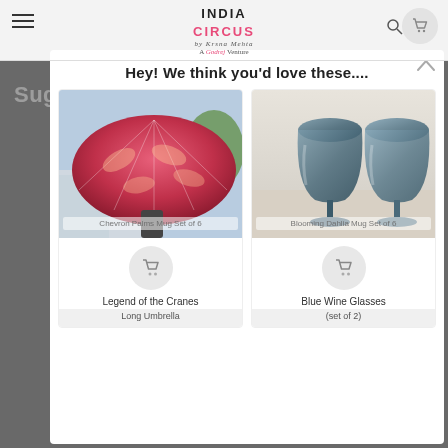[Figure (screenshot): India Circus e-commerce website header with logo, hamburger menu, search and cart icons]
Hey! We think you'd love these....
[Figure (photo): Red patterned umbrella with crane/leaf design opened overhead view]
Legend of the Cranes
Long Umbrella
[Figure (photo): Two blue-grey embossed crystal wine glasses on a table]
Blue Wine Glasses
(set of 2)